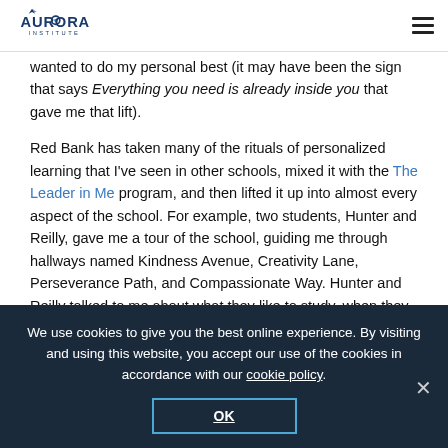Aurora Institute
wanted to do my personal best (it may have been the sign that says Everything you need is already inside you that gave me that lift).
Red Bank has taken many of the rituals of personalized learning that I've seen in other schools, mixed it with the The Leader in Me program, and then lifted it up into almost every aspect of the school. For example, two students, Hunter and Reilly, gave me a tour of the school, guiding me through hallways named Kindness Avenue, Creativity Lane, Perseverance Path, and Compassionate Way. Hunter and Reilly talked to me about what they like to study, when they like to do their work on a computer and when they like to
We use cookies to give you the best online experience. By visiting and using this website, you accept our use of the cookies in accordance with our cookie policy.
OK